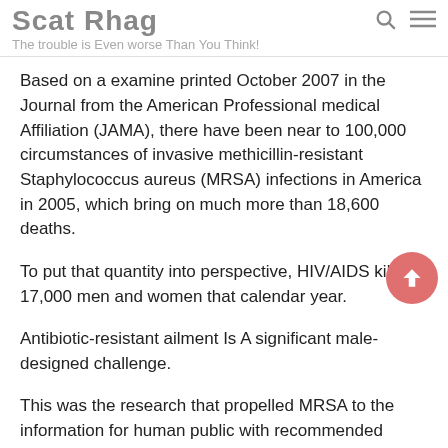Scat Rhag
The trouble is Even worse Than You Think!
Based on a examine printed October 2007 in the Journal from the American Professional medical Affiliation (JAMA), there have been near to 100,000 circumstances of invasive methicillin-resistant Staphylococcus aureus (MRSA) infections in America in 2005, which bring on much more than 18,600 deaths.
To put that quantity into perspective, HIV/AIDS killed 17,000 men and women that calendar year.
Antibiotic-resistant ailment Is A significant male-designed challenge.
This was the research that propelled MRSA to the information for human public with recommended